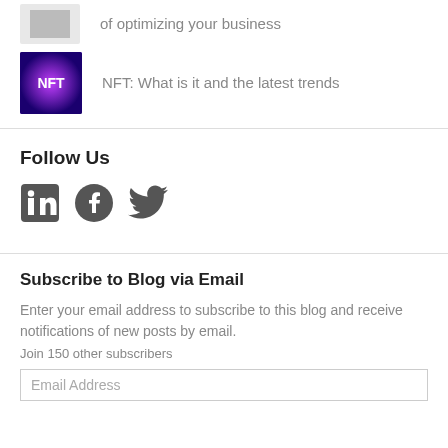of optimizing your business
[Figure (photo): NFT-themed thumbnail image with purple/blue glow]
NFT: What is it and the latest trends
Follow Us
[Figure (illustration): Social media icons: LinkedIn, Facebook, Twitter]
Subscribe to Blog via Email
Enter your email address to subscribe to this blog and receive notifications of new posts by email.
Join 150 other subscribers
Email Address